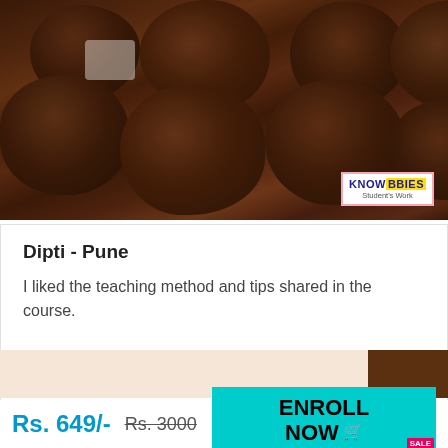[Figure (photo): Photo of chocolate-coated sweets/truffles on a white surface, with a KNOWBBIES Student's Work badge in the bottom right corner]
Dipti - Pune
I liked the teaching method and tips shared in the course.
[Figure (photo): Partial thumbnail of another course card with a beige/peach background]
Rs. 649/-
Rs. 3000
ENROLL NOW